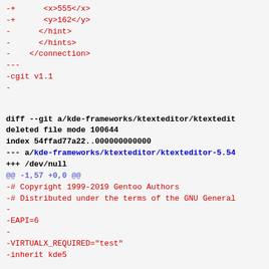-+      <x>555</x>
-+      <y>162</y>
-      </hint>
-      </hints>
-    </connection>
---
-cgit v1.1
-

diff --git a/kde-frameworks/ktexteditor/ktextedit
deleted file mode 100644
index 54ffad77a22..000000000000
--- a/kde-frameworks/ktexteditor/ktexteditor-5.54
+++ /dev/null
@@ -1,57 +0,0 @@
-# Copyright 1999-2019 Gentoo Authors
-# Distributed under the terms of the GNU General
-
-EAPI=6
-
-VIRTUALX_REQUIRED="test"
-inherit kde5